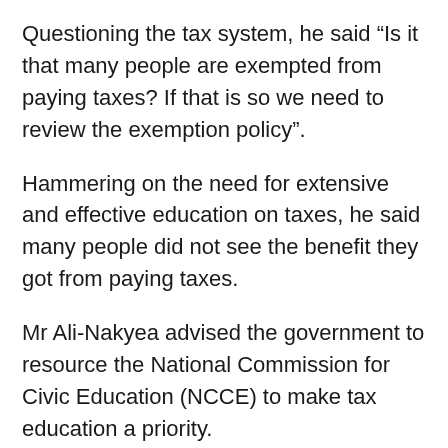Questioning the tax system, he said “Is it that many people are exempted from paying taxes? If that is so we need to review the exemption policy”.
Hammering on the need for extensive and effective education on taxes, he said many people did not see the benefit they got from paying taxes.
Mr Ali-Nakyea advised the government to resource the National Commission for Civic Education (NCCE) to make tax education a priority.